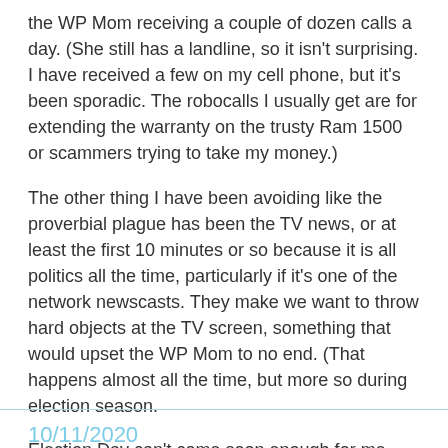the WP Mom receiving a couple of dozen calls a day. (She still has a landline, so it isn't surprising. I have received a few on my cell phone, but it's been sporadic. The robocalls I usually get are for extending the warranty on the trusty Ram 1500 or scammers trying to take my money.)
The other thing I have been avoiding like the proverbial plague has been the TV news, or at least the first 10 minutes or so because it is all politics all the time, particularly if it's one of the network newscasts. They make we want to throw hard objects at the TV screen, something that would upset the WP Mom to no end. (That happens almost all the time, but more so during election season.
Election Day can't come soon enough for me.
DCE at 10/17/2020 07:17:00 PM
Share
10/11/2020